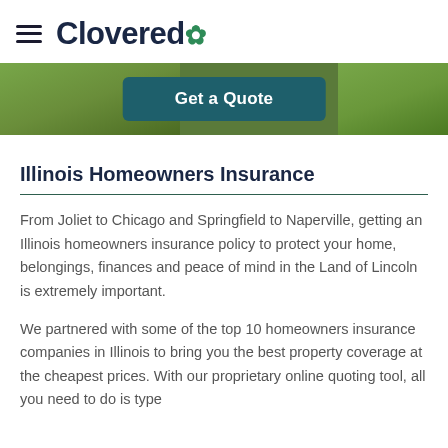≡ Clovered*
[Figure (other): Green grass background banner with a dark teal 'Get a Quote' button in the center]
Illinois Homeowners Insurance
From Joliet to Chicago and Springfield to Naperville, getting an Illinois homeowners insurance policy to protect your home, belongings, finances and peace of mind in the Land of Lincoln is extremely important.
We partnered with some of the top 10 homeowners insurance companies in Illinois to bring you the best property coverage at the cheapest prices. With our proprietary online quoting tool, all you need to do is type